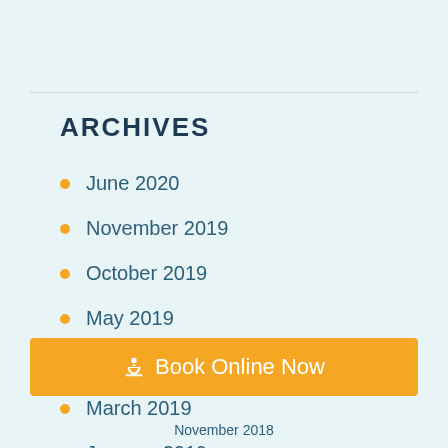ARCHIVES
June 2020
November 2019
October 2019
May 2019
April 2019
March 2019
January 2019
Book Online Now
November 2018